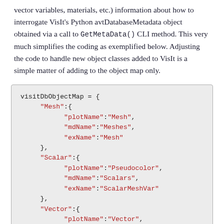vector variables, materials, etc.) information about how to interrogate VisIt's Python avtDatabaseMetadata object obtained via a call to GetMetaData() CLI method. This very much simplifies the coding as exemplified below. Adjusting the code to handle new object classes added to VisIt is a simple matter of adding to the object map only.
visitDbObjectMap = {
    "Mesh":{
        "plotName":"Mesh",
        "mdName":"Meshes",
        "exName":"Mesh"
    },
    "Scalar":{
        "plotName":"Pseudocolor",
        "mdName":"Scalars",
        "exName":"ScalarMeshVar"
    },
    "Vector":{
        "plotName":"Vector",
        "mdName":"Vectors"
    }